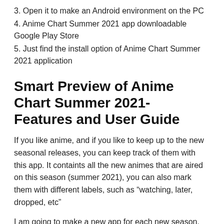3. Open it to make an Android environment on the PC
4. Anime Chart Summer 2021 app downloadable Google Play Store
5. Just find the install option of Anime Chart Summer 2021 application
Smart Preview of Anime Chart Summer 2021- Features and User Guide
If you like anime, and if you like to keep up to the new seasonal releases, you can keep track of them with this app. It containts all the new animes that are aired on this season (summer 2021), you can also mark them with different labels, such as “watching, later, dropped, etc”
I am going to make a new app for each new season, so stay tuned.